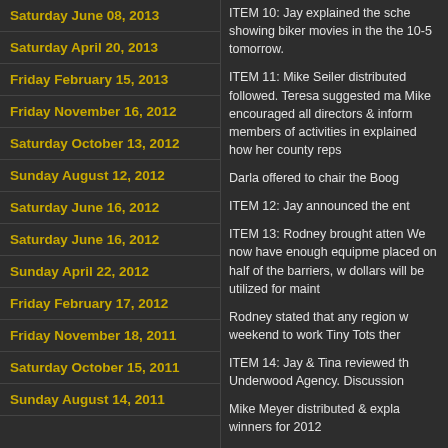Saturday June 08, 2013
Saturday April 20, 2013
Friday February 15, 2013
Friday November 16, 2012
Saturday October 13, 2012
Sunday August 12, 2012
Saturday June 16, 2012
Saturday June 16, 2012
Sunday April 22, 2012
Friday February 17, 2012
Friday November 18, 2011
Saturday October 15, 2011
Sunday August 14, 2011
ITEM 10: Jay explained the sche showing biker movies in the the 10-5 tomorrow.
ITEM 11: Mike Seiler distributed followed. Teresa suggested ma Mike encouraged all directors & inform members of activities in explained how her county reps
Darla offered to chair the Boog
ITEM 12: Jay announced the ent
ITEM 13: Rodney brought atten We now have enough equipme placed on half of the barriers, w dollars will be utilized for maint
Rodney stated that any region w weekend to work Tiny Tots ther
ITEM 14: Jay & Tina reviewed th Underwood Agency. Discussion
Mike Meyer distributed & expla winners for 2012